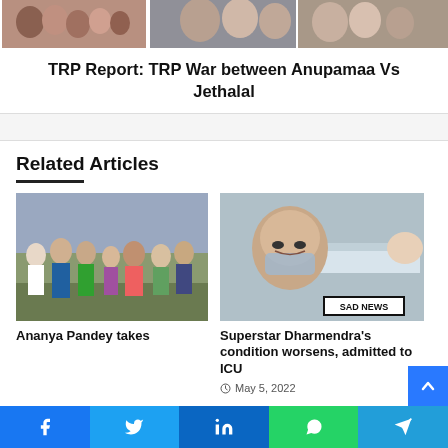[Figure (photo): Three celebrities/TV show cast members photos side by side in a strip]
TRP Report: TRP War between Anupamaa Vs Jethalal
Related Articles
[Figure (photo): Group of people standing outdoors, Ananya Pandey article thumbnail]
[Figure (photo): Dharmendra looking unwell with SAD NEWS badge overlay]
Superstar Dharmendra's condition worsens, admitted to ICU
May 5, 2022
Ananya Pandey takes